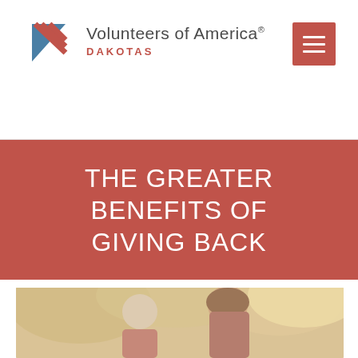[Figure (logo): Volunteers of America Dakotas logo with red triangle and lines icon, organization name, and DAKOTAS subtitle in red]
[Figure (other): Red hamburger menu button (three horizontal white lines on red background) in top-right corner]
THE GREATER BENEFITS OF GIVING BACK
[Figure (photo): Outdoor photo of an elderly white-haired woman and a younger brown-haired woman together, soft warm lighting with trees in background]